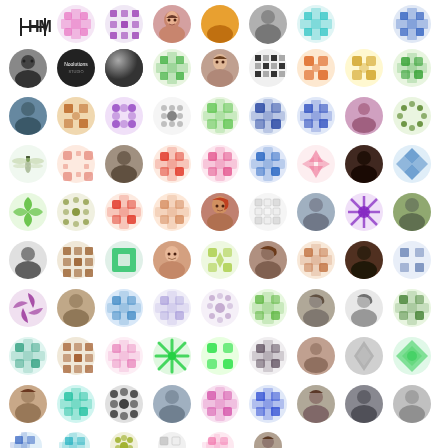[Figure (infographic): A grid of approximately 90 circular avatar icons arranged in 10 rows and 9 columns. The avatars are a mix of real profile photos and colorful geometric pattern icons (identicons). Colors include pink, purple, orange, green, blue, teal, red, brown, yellow, olive, and grey. The first item in row 1 is an HM logo (two letters). The icons represent social media user avatars.]